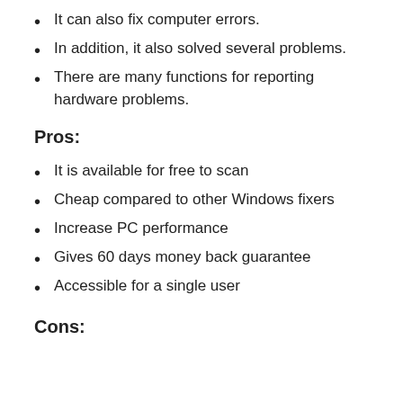It can also fix computer errors.
In addition, it also solved several problems.
There are many functions for reporting hardware problems.
Pros:
It is available for free to scan
Cheap compared to other Windows fixers
Increase PC performance
Gives 60 days money back guarantee
Accessible for a single user
Cons: